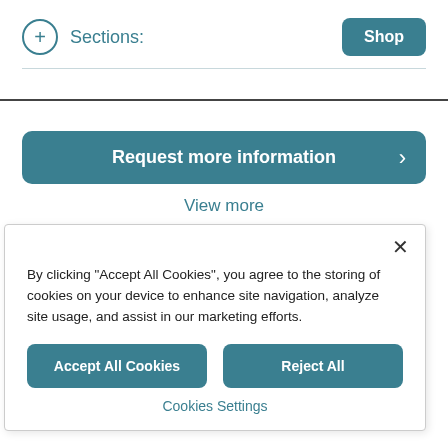Sections:
Request more information
View more
By clicking "Accept All Cookies", you agree to the storing of cookies on your device to enhance site navigation, analyze site usage, and assist in our marketing efforts.
Accept All Cookies
Reject All
Cookies Settings